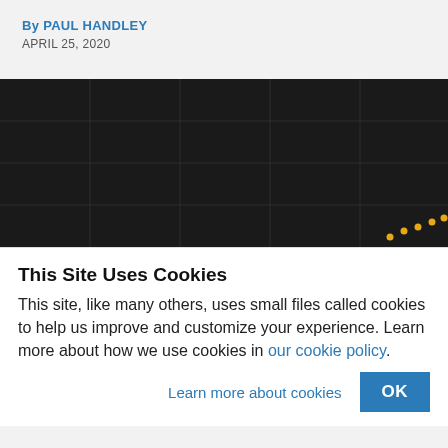By PAUL HANDLEY
APRIL 25, 2020
[Figure (photo): Dark/black image with faint grid lines and a small dotted orange/yellow line visible in the bottom-right corner]
This Site Uses Cookies
This site, like many others, uses small files called cookies to help us improve and customize your experience. Learn more about how we use cookies in our cookie policy.
Learn more about cookies
OK